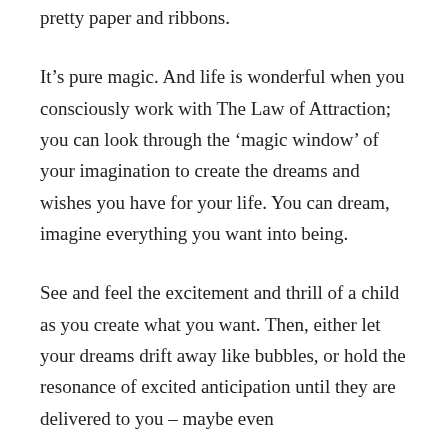pretty paper and ribbons.
It’s pure magic. And life is wonderful when you consciously work with The Law of Attraction; you can look through the ‘magic window’ of your imagination to create the dreams and wishes you have for your life. You can dream, imagine everything you want into being.
See and feel the excitement and thrill of a child as you create what you want. Then, either let your dreams drift away like bubbles, or hold the resonance of excited anticipation until they are delivered to you – maybe even